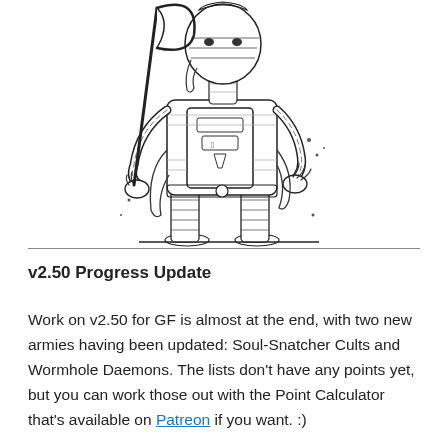[Figure (illustration): Black and white line art illustration of a mummy/undead warrior figure wearing bandages and ornate armor, holding a large scythe in one hand. The figure has a decorated chest plate with symbols and stands in a frontal pose.]
v2.50 Progress Update
Work on v2.50 for GF is almost at the end, with two new armies having been updated: Soul-Snatcher Cults and Wormhole Daemons. The lists don’t have any points yet, but you can work those out with the Point Calculator that’s available on Patreon if you want. :)